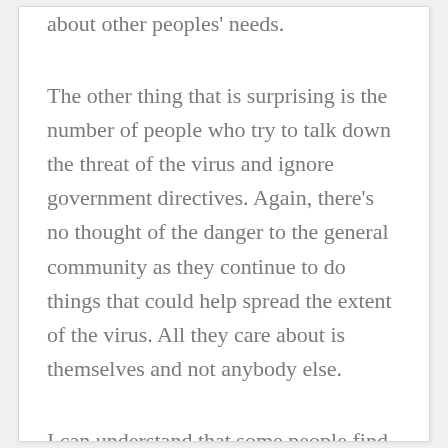about other peoples' needs.
The other thing that is surprising is the number of people who try to talk down the threat of the virus and ignore government directives. Again, there's no thought of the danger to the general community as they continue to do things that could help spread the extent of the virus. All they care about is themselves and not anybody else.
I can understand that some people find it very difficult to be peaceful and still at home. In general, when people are peaceful and still at home, it's difficult for companies to make money from them, so our society has gradually got to the point where getting out and doing things is